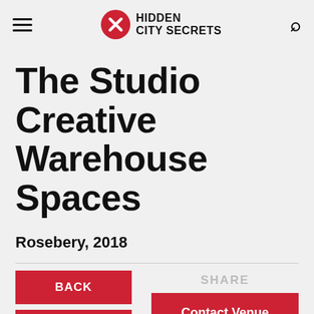HIDDEN CITY SECRETS
The Studio Creative Warehouse Spaces
Rosebery, 2018
BACK
SHARE
+ WISHLIST
Contact Venue